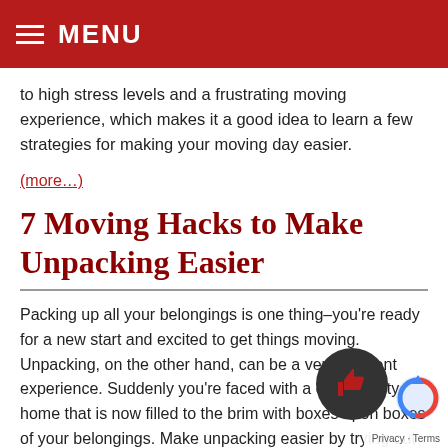MENU
to high stress levels and a frustrating moving experience, which makes it a good idea to learn a few strategies for making your moving day easier.
(more...)
7 Moving Hacks to Make Unpacking Easier
Packing up all your belongings is one thing–you're ready for a new start and excited to get things moving. Unpacking, on the other hand, can be a very different experience. Suddenly you're faced with a once-empty home that is now filled to the brim with boxes upon boxes of your belongings. Make unpacking easier by trying out these helpful moving h... and don't forget about your local movers Castlegar, p... professionals ready and willing to help you with your m...